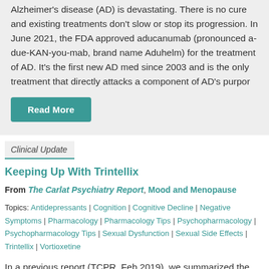Alzheimer's disease (AD) is devastating. There is no cure and existing treatments don't slow or stop its progression. In June 2021, the FDA approved aducanumab (pronounced a-due-KAN-you-mab, brand name Aduhelm) for the treatment of AD. It's the first new AD med since 2003 and is the only treatment that directly attacks a component of AD's purpor
Read More
Clinical Update
Keeping Up With Trintellix
From The Carlat Psychiatry Report, Mood and Menopause
Topics: Antidepressants | Cognition | Cognitive Decline | Negative Symptoms | Pharmacology | Pharmacology Tips | Psychopharmacology | Psychopharmacology Tips | Sexual Dysfunction | Sexual Side Effects | Trintellix | Vortioxetine
In a previous report (TCPR, Feb 2019), we summarized the data on cognitive effects associated with vortioxetine